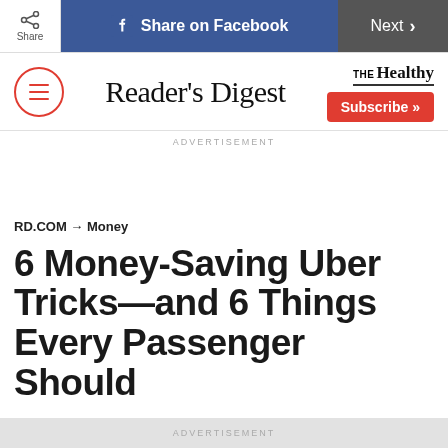Share | Share on Facebook | Next
[Figure (logo): Reader's Digest logo with hamburger menu icon on left and THE Healthy brand + Subscribe button on right]
ADVERTISEMENT
RD.COM → Money
6 Money-Saving Uber Tricks—and 6 Things Every Passenger Should
ADVERTISEMENT